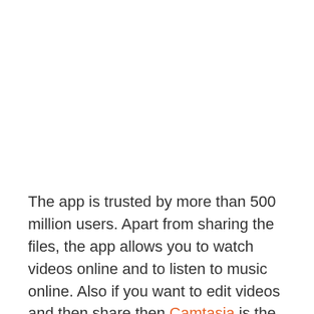The app is trusted by more than 500 million users. Apart from sharing the files, the app allows you to watch videos online and to listen to music online. Also if you want to edit videos and then share then Camtasia is the best for video editing and if you want to export your project then click here to know. Today, in this post, I will tell you What is SHAREit